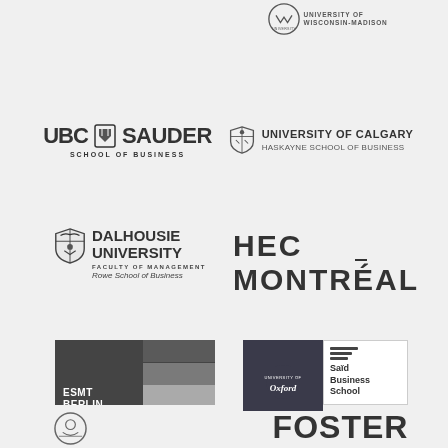[Figure (logo): University of Wisconsin-Madison partial logo at top right]
[Figure (logo): UBC Sauder School of Business logo]
[Figure (logo): University of Calgary, Haskayne School of Business logo]
[Figure (logo): Dalhousie University, Faculty of Management, Rowe School of Business logo]
[Figure (logo): HEC Montreal logo]
[Figure (logo): ESMT Berlin logo]
[Figure (logo): University of Oxford Said Business School logo]
[Figure (logo): Foster School of Business partial logo at bottom]
[Figure (logo): Unknown university emblem partial at bottom left]